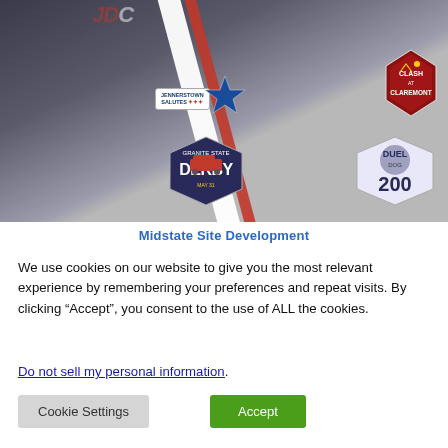[Figure (photo): Racing event promotional image showing race cars on the left side with a diagonal red and white stripe dividing it from a gray section on the right. Overlaid logos include: Jennerstown Salutes with a blue star, Clash at Claremont badge, Granite State Derby badge, and Duel Dog 200 badge.]
Midstate Site Development
We use cookies on our website to give you the most relevant experience by remembering your preferences and repeat visits. By clicking “Accept”, you consent to the use of ALL the cookies.
Do not sell my personal information.
Cookie Settings
Accept